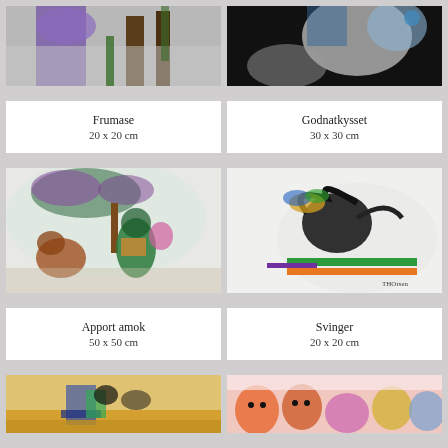[Figure (photo): Partial view of an abstract painting with purple figure and trees on grey background (top portion)]
[Figure (photo): Partial view of an abstract dark painting with white/blue forms on black background (top portion)]
Frumase
20 x 20 cm
Godnatkysset
30 x 30 cm
[Figure (photo): Abstract painting showing animals/figures with trees, energetic colorful style on light background]
[Figure (photo): Abstract painting with dark bird/figure forms and colorful stripes on white background, signed THOrsen]
Apport amok
50 x 50 cm
Svinger
20 x 20 cm
[Figure (photo): Partial view of painting with figures around a table, warm ochre tones (bottom portion)]
[Figure (photo): Partial view of painting with colorful expressive face-like figures on pink/white background (bottom portion)]